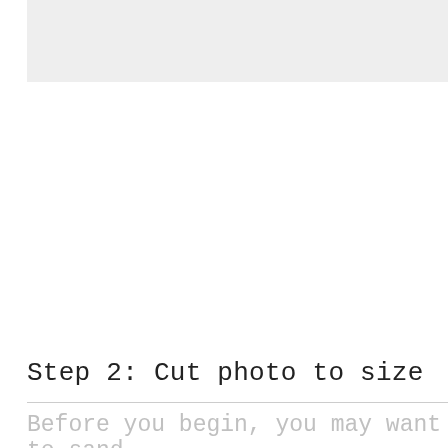[Figure (photo): Light gray rectangular image placeholder at the top of the page]
Step 2: Cut photo to size
Before you begin, you may want to sand